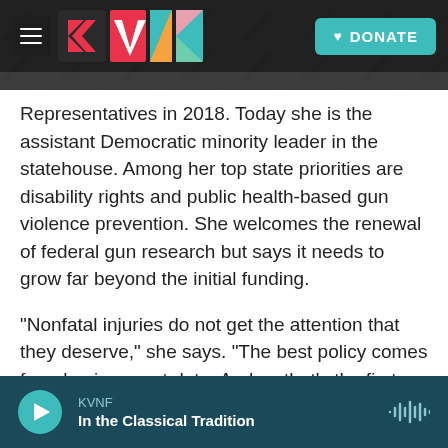[Figure (screenshot): KVNF radio website header with logo, hamburger menu, and teal DONATE button over a dark rocky background photo]
Representatives in 2018. Today she is the assistant Democratic minority leader in the statehouse. Among her top state priorities are disability rights and public health-based gun violence prevention. She welcomes the renewal of federal gun research but says it needs to grow far beyond the initial funding.
"Nonfatal injuries do not get the attention that they deserve," she says. "The best policy comes from having great data. And so that's the first thing that we need to fix."
KVNF — In the Classical Tradition